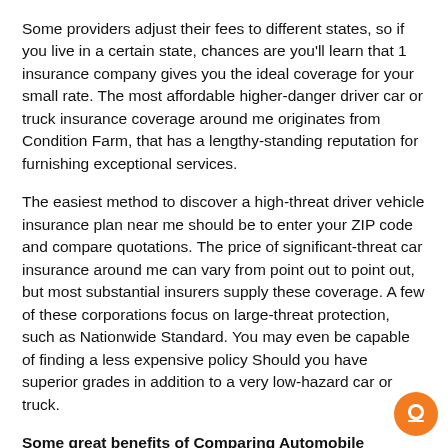Some providers adjust their fees to different states, so if you live in a certain state, chances are you'll learn that 1 insurance company gives you the ideal coverage for your small rate. The most affordable higher-danger driver car or truck insurance coverage around me originates from Condition Farm, that has a lengthy-standing reputation for furnishing exceptional services.
The easiest method to discover a high-threat driver vehicle insurance plan near me should be to enter your ZIP code and compare quotations. The price of significant-threat car insurance around me can vary from point out to point out, but most substantial insurers supply these coverage. A few of these corporations focus on large-threat protection, such as Nationwide Standard. You may even be capable of finding a less expensive policy Should you have superior grades in addition to a very low-hazard car or truck.
Some great benefits of Comparing Automobile Insurance coverage Organizations